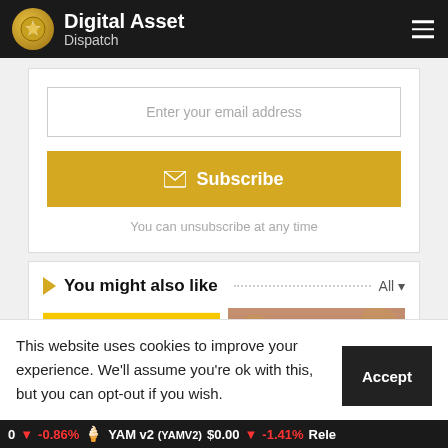Digital Asset Dispatch
Enter your email address
Subscribe
You can unsubscribe at any time
You might also like
[Figure (photo): Yellow warning signs with arrows on blue background]
[Figure (photo): Monday 28th March Market header image with golden textured background]
This website uses cookies to improve your experience. We'll assume you're ok with this, but you can opt-out if you wish.
Accept
-0.86%   YAM v2 (YAMV2)  $0.00   -1.41%   Rele